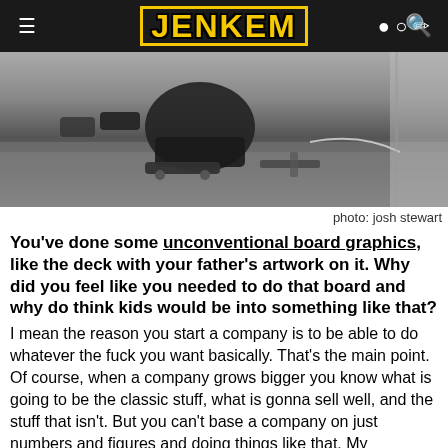JENKEM
[Figure (photo): Black and white photo of a skateboarder crouching near a skateboard on the ground, with various objects around them on pavement]
photo: josh stewart
You've done some unconventional board graphics, like the deck with your father's artwork on it. Why did you feel like you needed to do that board and why do think kids would be into something like that?
I mean the reason you start a company is to be able to do whatever the fuck you want basically. That's the main point. Of course, when a company grows bigger you know what is going to be the classic stuff, what is gonna sell well, and the stuff that isn't. But you can't base a company on just numbers and figures and doing things like that. My grandfather and father were two strong characters and sources of inspiration, they